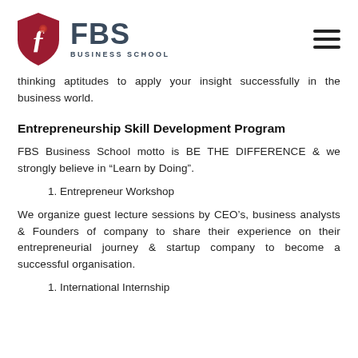[Figure (logo): FBS Business School logo with dark red shield icon containing a stylized letter F, and text 'FBS BUSINESS SCHOOL' to the right]
thinking aptitudes to apply your insight successfully in the business world.
Entrepreneurship Skill Development Program
FBS Business School motto is BE THE DIFFERENCE & we strongly believe in “Learn by Doing”.
1. Entrepreneur Workshop
We organize guest lecture sessions by CEO’s, business analysts & Founders of company to share their experience on their entrepreneurial journey & startup company to become a successful organisation.
1. International Internship